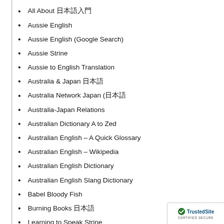All About 日本語入門
Aussie English
Aussie English (Google Search)
Aussie Strine
Aussie to English Translation
Australia & Japan 日本語
Australia Network Japan (日本語
Australia-Japan Relations
Australian Dictionary A to Zed
Australian English – A Quick Glossary
Australian English – Wikipedia
Australian English Dictionary
Australian English Slang Dictionary
Babel Bloody Fish
Burning Books 日本語
Learning to Speak Strine
National Federation of Australia-Japan Societies
Nichigo Press 日本語
Sussing Aussie English
日本語テキスト